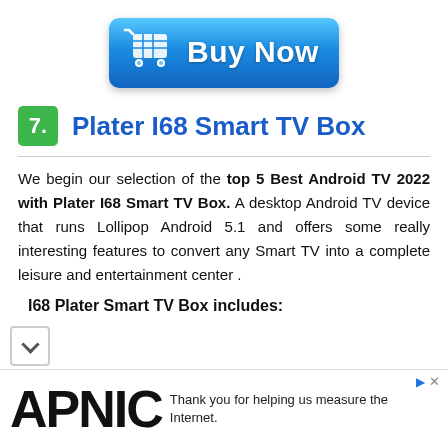[Figure (illustration): Blue 'Buy Now' button with shopping cart icon]
7. Plater I68 Smart TV Box
We begin our selection of the top 5 Best Android TV 2022 with Plater I68 Smart TV Box. A desktop Android TV device that runs Lollipop Android 5.1 and offers some really interesting features to convert any Smart TV into a complete leisure and entertainment center .
I68 Plater Smart TV Box includes:
[Figure (logo): APNIC logo and ad text: Thank you for helping us measure the Internet.]